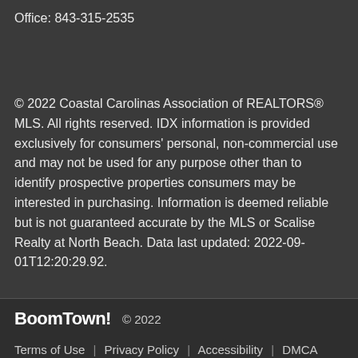Office: 843-315-2535
© 2022 Coastal Carolinas Association of REALTORS® MLS. All rights reserved. IDX information is provided exclusively for consumers' personal, non-commercial use and may not be used for any purpose other than to identify prospective properties consumers may be interested in purchasing. Information is deemed reliable but is not guaranteed accurate by the MLS or Scalise Realty at North Beach. Data last updated: 2022-09-01T12:20:29.92.
BoomTown! © 2022
Terms of Use | Privacy Policy | Accessibility | DMCA | Listings Sitemap
Take a Tour
Ask A Question